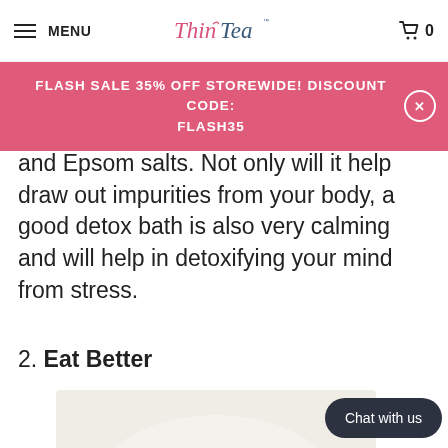MENU | ThinTea™ | Cart 0
FLASH SALE 35% OFF STOREWIDE! DISCOUNT CODE: FLASH35
and Epsom salts. Not only will it help draw out impurities from your body, a good detox bath is also very calming and will help in detoxifying your mind from stress.
2. Eat Better
[Figure (photo): A white plate with assorted fruits including dragon fruit slices, blueberries, papaya/melon pieces, and kiwi chunks arranged decoratively.]
Chat with us